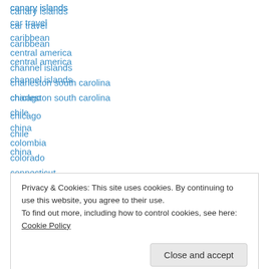canary islands
car travel
caribbean
central america
channel islands
charleston south carolina
chicago
chile
china
colombia
colorado
connecticut
cook islands
Privacy & Cookies: This site uses cookies. By continuing to use this website, you agree to their use. To find out more, including how to control cookies, see here: Cookie Policy
customer service